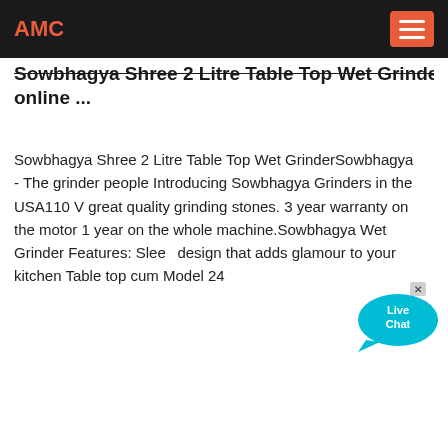AMC
Sowbhagya Shree 2 Litre Table Top Wet Grinder online ...
Sowbhagya Shree 2 Litre Table Top Wet GrinderSowbhagya - The grinder people Introducing Sowbhagya Grinders in the USA110 V great quality grinding stones. 3 year warranty on the motor 1 year on the whole machine.Sowbhagya Wet Grinder Features: Sleek design that adds glamour to your kitchen Table top cum Model 24
[Figure (illustration): Live Chat speech bubble icon with arrow]
[Figure (illustration): Cyan circular arrow/next button icon]
185 tph Crusher machine Zambia
Guyana Crushing equipment 840 tph
220 tph Secondary crusher Ghana
mobile jaw crusher equipment in china
Aggregate crusher 360 tph United Arab Emirates
test vibration sieve machine china mainland